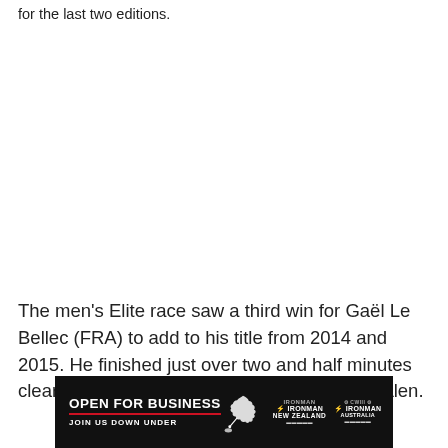for the last two editions.
The men's Elite race saw a third win for Gaël Le Bellec (FRA) to add to his title from 2014 and 2015. He finished just over two and half minutes clear of another French athlete, Yannick Cadalen.
[Figure (other): Advertisement banner: OPEN FOR BUSINESS / JOIN US DOWN UNDER with Australia map silhouette and IRONMAN New Zealand and IRONMAN Australia logos on black background with red underline]